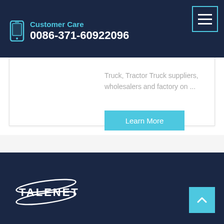Customer Care 0086-371-60922096
Truck, Tractor Truck suppliers, wholesalers and factory on ...
Learn More
[Figure (logo): TALENET logo with oval swoosh in white on dark navy background]
TALENET